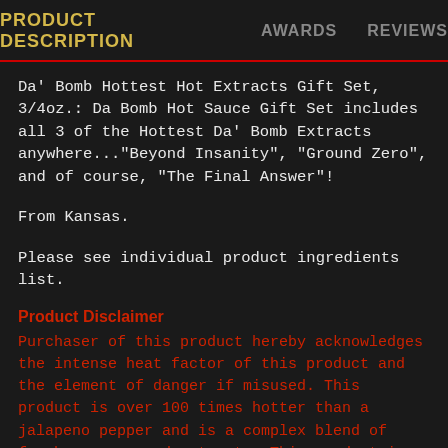PRODUCT DESCRIPTION | AWARDS | REVIEWS
Da' Bomb Hottest Hot Extracts Gift Set, 3/4oz.: Da Bomb Hot Sauce Gift Set includes all 3 of the Hottest Da' Bomb Extracts anywhere..."Beyond Insanity", "Ground Zero", and of course, "The Final Answer"!
From Kansas.
Please see individual product ingredients list.
Product Disclaimer
Purchaser of this product hereby acknowledges the intense heat factor of this product and the element of danger if misused. This product is over 100 times hotter than a jalapeno pepper and is a complex blend of fresh peppers and extracts. This product is not a sauce but a food additive and should be used as such only.